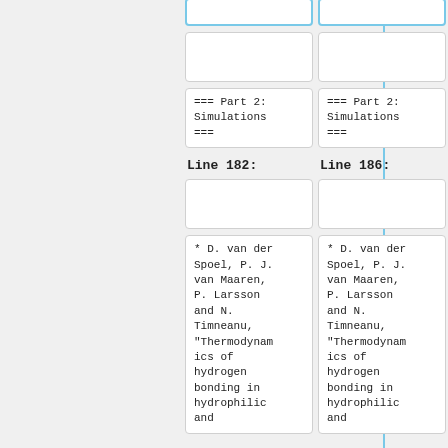=== Part 2: Simulations ===
=== Part 2: Simulations ===
Line 182:
Line 186:
* D. van der Spoel, P. J. van Maaren, P. Larsson and N. Timneanu, "Thermodynamics of hydrogen bonding in hydrophilic and
* D. van der Spoel, P. J. van Maaren, P. Larsson and N. Timneanu, "Thermodynamics of hydrogen bonding in hydrophilic and